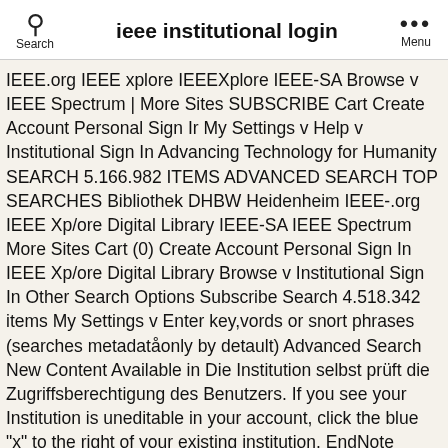ieee institutional login
IEEE.org IEEE xplore IEEEXplore IEEE-SA Browse v IEEE Spectrum | More Sites SUBSCRIBE Cart Create Account Personal Sign Ir My Settings v Help v Institutional Sign In Advancing Technology for Humanity SEARCH 5.166.982 ITEMS ADVANCED SEARCH TOP SEARCHES Bibliothek DHBW Heidenheim IEEE-.org IEEE Xp/ore Digital Library IEEE-SA IEEE Spectrum More Sites Cart (0) Create Account Personal Sign In IEEE Xp/ore Digital Library Browse v Institutional Sign In Other Search Options Subscribe Search 4.518.342 items My Settings v Enter key,vords or snort phrases (searches metadatåonly by detault) Advanced Search New Content Available in Die Institution selbst prüft die Zugriffsberechtigung des Benutzers. If you see your Institution is uneditable in your account, click the blue "x" to the right of your existing institution. EndNote online login; Buy now; EndNote online login; Buy now; Product Details; Training; Support; Contact Sales: +1 888 418